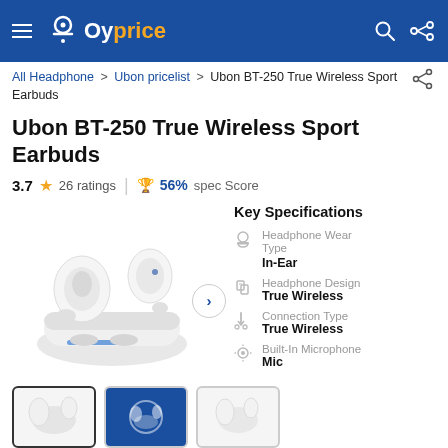Oyprice
All Headphone > Ubon pricelist > Ubon BT-250 True Wireless Sport Earbuds
Ubon BT-250 True Wireless Sport Earbuds
3.7 ★ 26 ratings | 🏆 56% spec Score
[Figure (photo): Product photo of Ubon BT-250 True Wireless Sport Earbuds — white earbuds with charging case]
Key Specifications
Headphone Wear Type: In-Ear
Headphone Design: True Wireless
Connection Type: True Wireless
Built-In Microphone: Mic